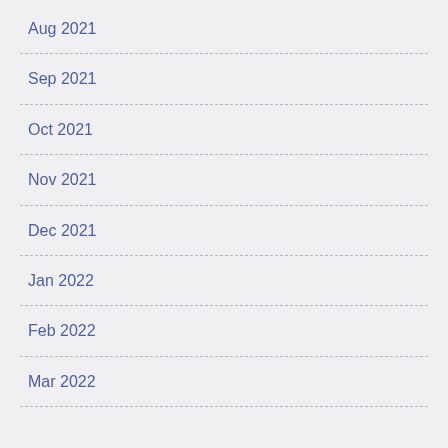Aug 2021
Sep 2021
Oct 2021
Nov 2021
Dec 2021
Jan 2022
Feb 2022
Mar 2022